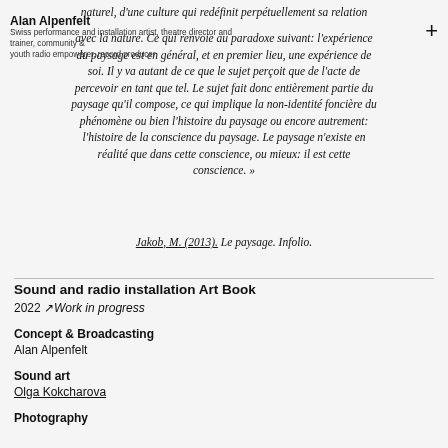naturel, d'une culture qui redéfinit perpétuellement sa relation avec la nature. Ce qui renvoie au paradoxe suivant: l'expérience du paysage est en général, et en premier lieu, une expérience de soi. Il y va autant de ce que le sujet perçoit que de l'acte de percevoir en tant que tel. Le sujet fait donc entièrement partie du paysage qu'il compose, ce qui implique la non-identité foncière du phénomène ou bien l'histoire du paysage ou encore autrement: l'histoire de la conscience du paysage. Le paysage n'existe en réalité que dans cette conscience, ou mieux: il est cette conscience. »
Alan Alpenfelt — Swiss performance and installation artist, theatre director and trainer, community & youth radio empowerer, record producer.
Jakob, M. (2013). Le paysage. Infolio.
Sound and radio installation Art Book
2022 ↗ Work in progress
Concept & Broadcasting
Alan Alpenfelt
Sound art
Olga Kokcharova
Photography